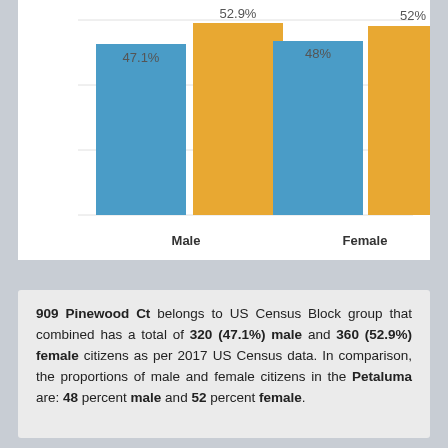[Figure (grouped-bar-chart): Male vs Female by location]
909 Pinewood Ct belongs to US Census Block group that combined has a total of 320 (47.1%) male and 360 (52.9%) female citizens as per 2017 US Census data. In comparison, the proportions of male and female citizens in the Petaluma are: 48 percent male and 52 percent female.